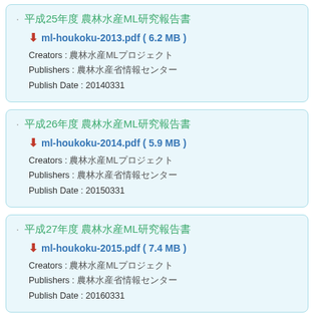平成25年度 農林水産ML研究報告書
ml-houkoku-2013.pdf ( 6.2 MB )
Creators : 農林水産MLプロジェクト
Publishers : 農林水産省情報センター
Publish Date : 20140331
平成26年度 農林水産ML研究報告書
ml-houkoku-2014.pdf ( 5.9 MB )
Creators : 農林水産MLプロジェクト
Publishers : 農林水産省情報センター
Publish Date : 20150331
平成27年度 農林水産ML研究報告書
ml-houkoku-2015.pdf ( 7.4 MB )
Creators : 農林水産MLプロジェクト
Publishers : 農林水産省情報センター
Publish Date : 20160331